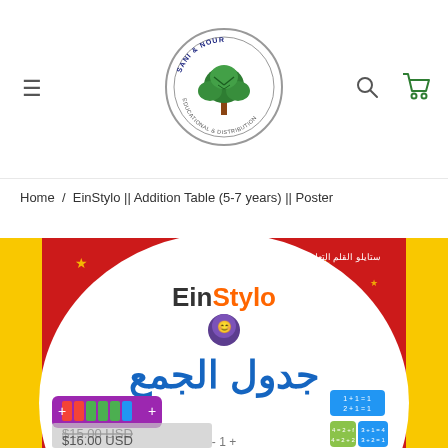[Figure (logo): Sani & Nour logo - circular logo with a tree design, text reading SANI & NOUR around the border]
Home / EinStylo || Addition Table (5-7 years) || Poster
[Figure (photo): EinStylo Addition Table product poster - red background with Arabic text جدول الجمع (Addition Table), EinStylo branding, colorful math table elements, price shown as $15.00 USD crossed out and $16.00 USD]